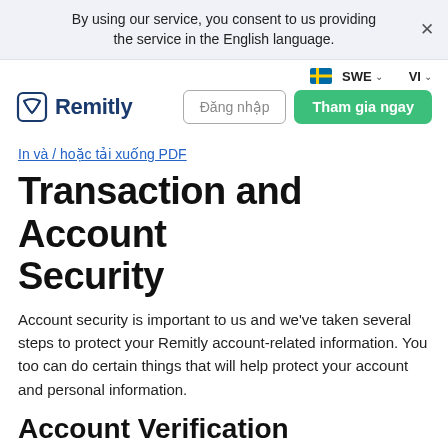By using our service, you consent to us providing the service in the English language.
[Figure (logo): Swedish flag icon]
SWE ∨   VI ∨
[Figure (logo): Remitly shield logo with brand name]
Đăng nhập   Tham gia ngay
In và / hoặc tải xuống PDF
Transaction and Account Security
Account security is important to us and we've taken several steps to protect your Remitly account-related information. You too can do certain things that will help protect your account and personal information.
Account Verification Processes